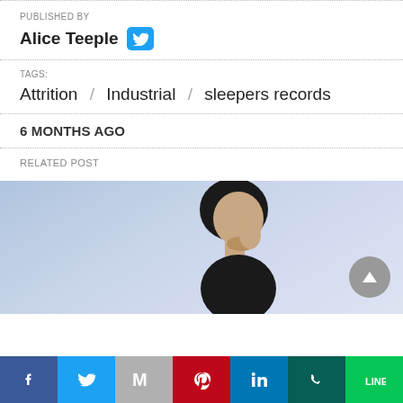PUBLISHED BY
Alice Teeple
TAGS:
Attrition / Industrial / sleepers records
6 MONTHS AGO
RELATED POST
[Figure (photo): Young man with dark hair looking upward, against a light blue/grey background. A grey circular scroll-to-top button is visible in the lower right.]
[Figure (infographic): Social sharing bar with icons: Facebook (blue), Twitter (blue), Gmail/Mail (grey), Pinterest (red), LinkedIn (blue), WhatsApp (dark green), LINE (green)]